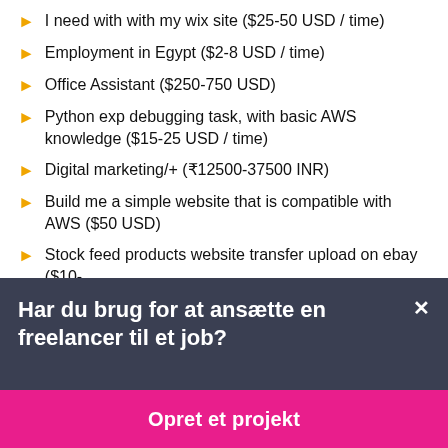I need with with my wix site ($25-50 USD / time)
Employment in Egypt ($2-8 USD / time)
Office Assistant ($250-750 USD)
Python exp debugging task, with basic AWS knowledge ($15-25 USD / time)
Digital marketing/+ (₹12500-37500 INR)
Build me a simple website that is compatible with AWS ($50 USD)
Stock feed products website transfer upload on ebay ($10-
Har du brug for at ansætte en freelancer til et job?
Opret et projekt